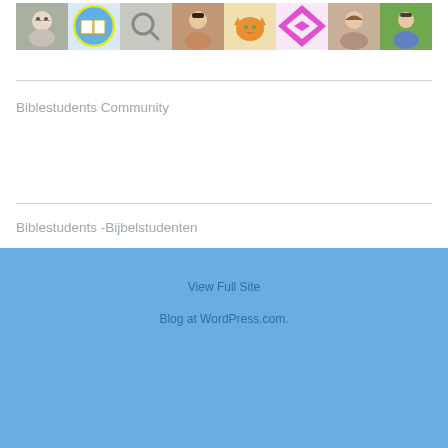[Figure (photo): Row of 8 avatar/profile thumbnails including people photos, an open book icon, a magnifying glass, a cat photo, a diamond pattern, and outdoor portraits]
Biblestudents Community
Biblestudents -Bijbelstudenten
View Full Site
Blog at WordPress.com.